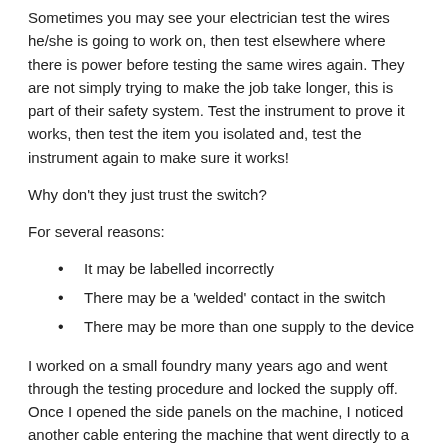Sometimes you may see your electrician test the wires he/she is going to work on, then test elsewhere where there is power before testing the same wires again. They are not simply trying to make the job take longer, this is part of their safety system. Test the instrument to prove it works, then test the item you isolated and, test the instrument again to make sure it works!
Why don't they just trust the switch?
For several reasons:
It may be labelled incorrectly
There may be a 'welded' contact in the switch
There may be more than one supply to the device
I worked on a small foundry many years ago and went through the testing procedure and locked the supply off. Once I opened the side panels on the machine, I noticed another cable entering the machine that went directly to a transformer. This set of the alarm